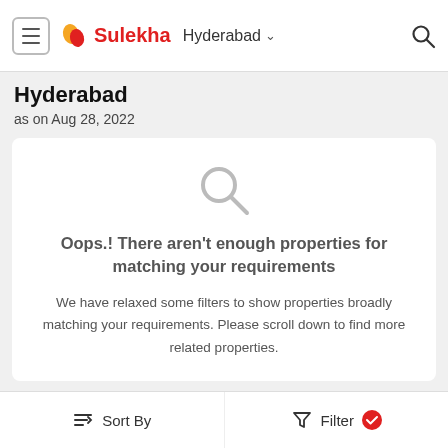Sulekha — Hyderabad navigation bar
Hyderabad
as on Aug 28, 2022
Oops.! There aren't enough properties for matching your requirements

We have relaxed some filters to show properties broadly matching your requirements. Please scroll down to find more related properties.
1 BHK High Rise Apartment for Sale in Hafeeznot
Sort By    Filter